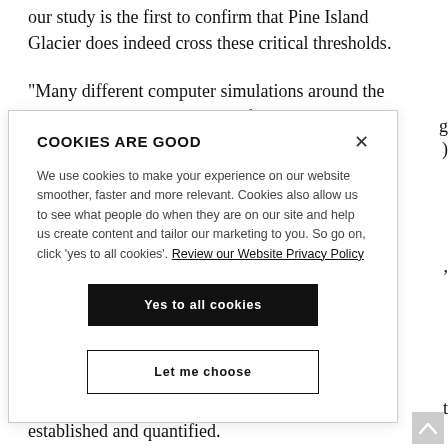our study is the first to confirm that Pine Island Glacier does indeed cross these critical thresholds.
“Many different computer simulations around the world are attempting to quantify how a changing climate
[Figure (screenshot): Cookie consent modal dialog with title 'COOKIES ARE GOOD', body text about cookie usage, a 'Yes to all cookies' button and a 'Let me choose' button, with an X close button in the top right.]
established and quantified.